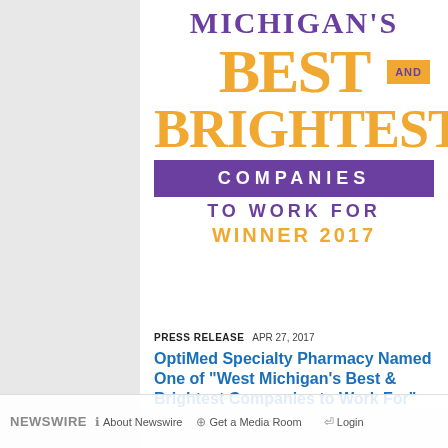[Figure (logo): Michigan's Best and Brightest Companies to Work For - Winner 2017 award logo with purple and gold/orange color scheme]
PRESS RELEASE   APR 27, 2017
OptiMed Specialty Pharmacy Named One of "West Michigan's Best & Brightest Companies to Work For"
NEWSWIRE   About Newswire   Get a Media Room   Login